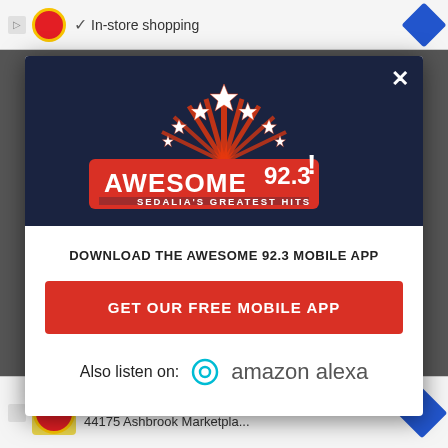[Figure (screenshot): Browser ad bar at top showing Lidl ad with 'In-store shopping' text and navigation diamond button]
[Figure (logo): Awesome 92.3 radio station logo — red banner with stars, text 'AWESOME 92.3!' and 'SEDALIA'S GREATEST HITS' on dark navy background modal]
DOWNLOAD THE AWESOME 92.3 MOBILE APP
GET OUR FREE MOBILE APP
Also listen on:  amazon alexa
[Figure (screenshot): Bottom browser ad bar showing Lidl store info: Ashburn OPEN 8AM-9PM, 44175 Ashbrook Marketpla...]